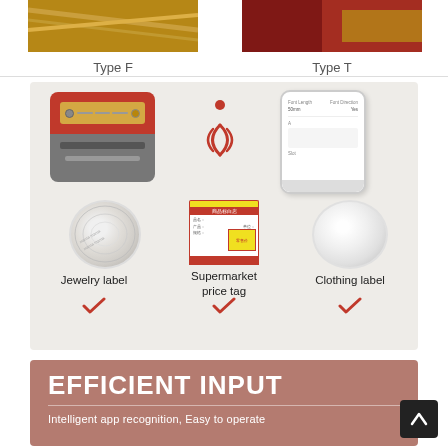[Figure (photo): Top portion showing two product type images: Type F (industrial/cable background) on left, Type T (red/dark background) on right]
Type F
Type T
[Figure (infographic): Product infographic showing a label printer device, NFC wireless signal icon, and smartphone app, above three label roll examples: Jewelry label, Supermarket price tag, Clothing label, each with a red checkmark]
Jewelry label
Supermarket price tag
Clothing label
EFFICIENT INPUT
Intelligent app recognition,  Easy to operate